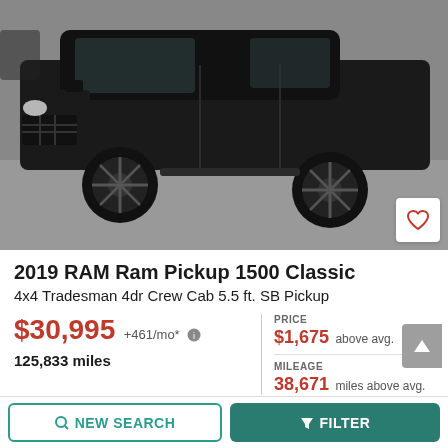[Figure (photo): Black 2019 RAM Ram Pickup 1500 Classic truck photographed from front-left angle in a parking lot]
2019 RAM Ram Pickup 1500 Classic
4x4 Tradesman 4dr Crew Cab 5.5 ft. SB Pickup
$30,995 +461/mo*
125,833 miles
PRICE $1,675 above avg.
MILEAGE 38,671 miles above avg.
NEW SEARCH
FILTER